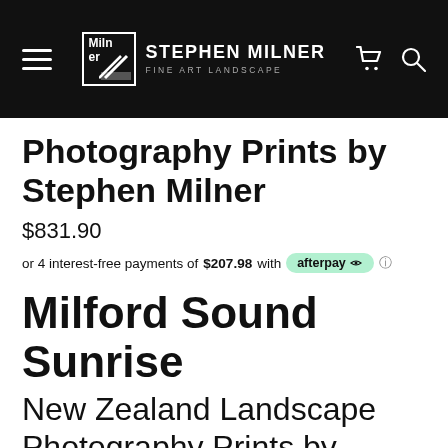STEPHEN MILNER FINE ART LANDSCAPE
Photography Prints by Stephen Milner
$831.90
or 4 interest-free payments of $207.98 with afterpay
Milford Sound Sunrise
New Zealand Landscape Photography Prints by